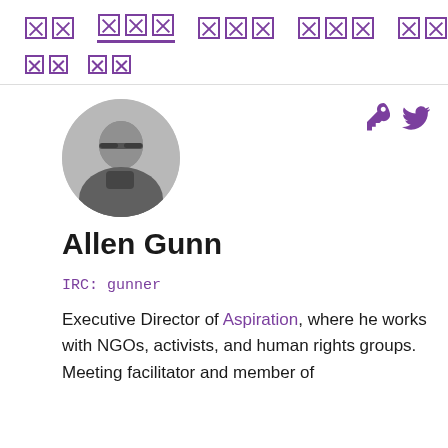[nav bar with broken/unrenderable characters - navigation menu items]
[sub nav with broken characters]
[Figure (photo): Circular profile photo of Allen Gunn, a man with glasses and short hair]
Allen Gunn
IRC: gunner
Executive Director of Aspiration, where he works with NGOs, activists, and human rights groups. Meeting facilitator and member of Tech Commons Council.